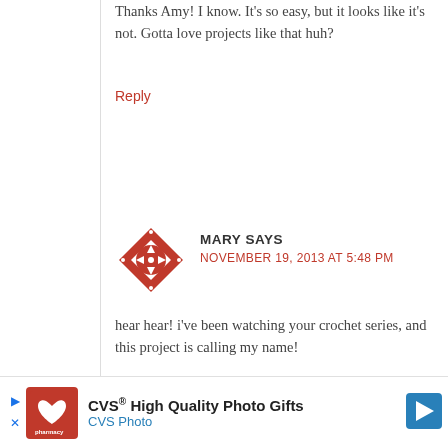Thanks Amy! I know. It's so easy, but it looks like it's not. Gotta love projects like that huh?
Reply
[Figure (logo): Red diamond-shaped avatar icon with arrows pointing in four directions and dots at corners]
MARY SAYS
NOVEMBER 19, 2013 AT 5:48 PM
hear hear! i've been watching your crochet series, and this project is calling my name!
Reply
[Figure (infographic): CVS pharmacy advertisement banner: CVS High Quality Photo Gifts - CVS Photo, with CVS logo and blue arrow button]